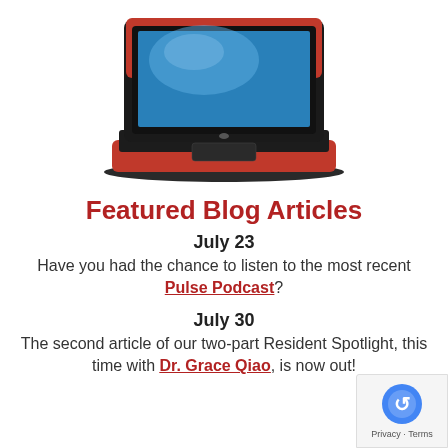[Figure (photo): Red laptop computer with blue screen, open, viewed from the front-above angle.]
Featured Blog Articles
July 23
Have you had the chance to listen to the most recent Pulse Podcast?
July 30
The second article of our two-part Resident Spotlight, this time with Dr. Grace Qiao, is now out!